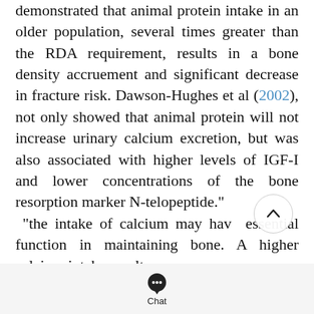...Hannah and colleagues (2000), demonstrated that animal protein intake in an older population, several times greater than the RDA requirement, results in a bone density accruement and significant decrease in fracture risk. Dawson-Hughes et al (2002), not only showed that animal protein will not increase urinary calcium excretion, but was also associated with higher levels of IGF-I and lower concentrations of the bone resorption marker N-telopeptide." "the intake of calcium may have essential function in maintaining bone. A higher calcium intake results
[Figure (other): Scroll-to-top circular button with upward chevron arrow]
Chat